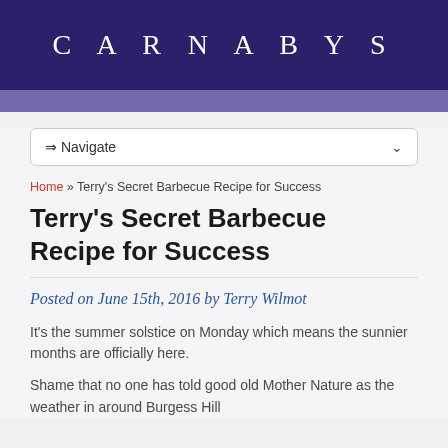CARNABYS
⇒ Navigate
Home » Terry's Secret Barbecue Recipe for Success
Terry's Secret Barbecue Recipe for Success
Posted on June 15th, 2016 by Terry Wilmot
It's the summer solstice on Monday which means the sunnier months are officially here.
Shame that no one has told good old Mother Nature as the weather in around Burgess Hill